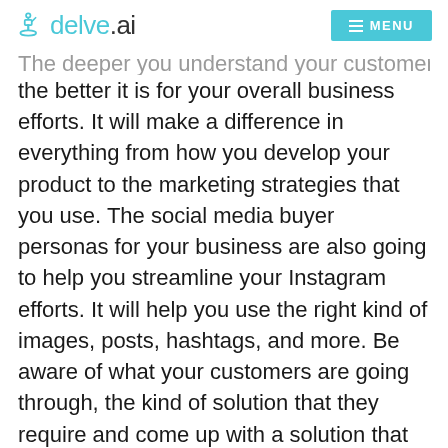delve.ai — MENU
The deeper you understand your customers, the better it is for your overall business efforts. It will make a difference in everything from how you develop your product to the marketing strategies that you use. The social media buyer personas for your business are also going to help you streamline your Instagram efforts. It will help you use the right kind of images, posts, hashtags, and more. Be aware of what your customers are going through, the kind of solution that they require and come up with a solution that will help them immensely.